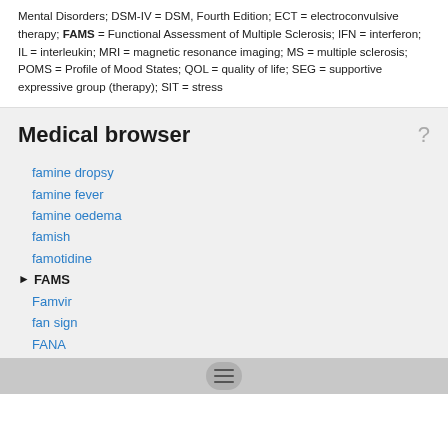Mental Disorders; DSM-IV = DSM, Fourth Edition; ECT = electroconvulsive therapy; FAMS = Functional Assessment of Multiple Sclerosis; IFN = interferon; IL = interleukin; MRI = magnetic resonance imaging; MS = multiple sclerosis; POMS = Profile of Mood States; QOL = quality of life; SEG = supportive expressive group (therapy); SIT = stress
Medical browser
famine dropsy
famine fever
famine oedema
famish
famotidine
FAMS
Famvir
fan sign
FANA
Fananas
Fananas cell
Fananas, J.